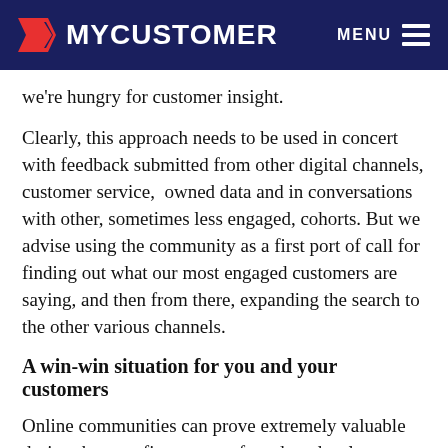MYCUSTOMER  MENU
we're hungry for customer insight.
Clearly, this approach needs to be used in concert with feedback submitted from other digital channels, customer service,  owned data and in conversations with other, sometimes less engaged, cohorts. But we advise using the community as a first port of call for finding out what our most engaged customers are saying, and then from there, expanding the search to the other various channels.
A win-win situation for you and your customers
Online communities can prove extremely valuable during the very first stages of product development.